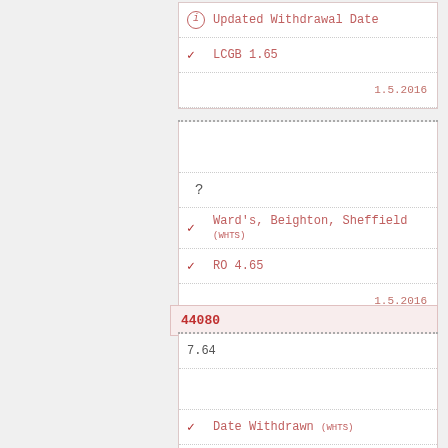Updated Withdrawal Date
✓ LCGB 1.65
1.5.2016
?
✓ Ward's, Beighton, Sheffield (WHTS)
✓ RO 4.65
1.5.2016
44080
7.64
✓ Date Withdrawn (WHTS)
✓ RO
1.5.2016